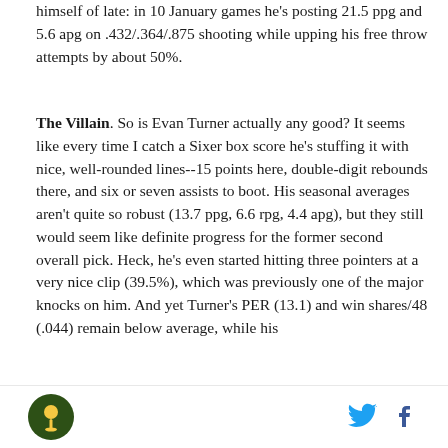himself of late: in 10 January games he's posting 21.5 ppg and 5.6 apg on .432/.364/.875 shooting while upping his free throw attempts by about 50%.
The Villain. So is Evan Turner actually any good? It seems like every time I catch a Sixer box score he's stuffing it with nice, well-rounded lines--15 points here, double-digit rebounds there, and six or seven assists to boot. His seasonal averages aren't quite so robust (13.7 ppg, 6.6 rpg, 4.4 apg), but they still would seem like definite progress for the former second overall pick. Heck, he's even started hitting three pointers at a very nice clip (39.5%), which was previously one of the major knocks on him. And yet Turner's PER (13.1) and win shares/48 (.044) remain below average, while his
[Figure (logo): Green circular logo with a golf tee icon]
[Figure (logo): Twitter bird icon in blue]
[Figure (logo): Facebook 'f' icon in dark blue]